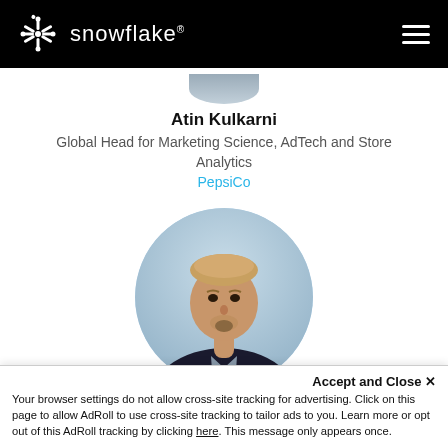snowflake
Atin Kulkarni
Global Head for Marketing Science, AdTech and Store Analytics
PepsiCo
[Figure (photo): Circular headshot photo of Chuck Sample against a light blue background]
Chuck Sample
VP Analytics and Data Science
US Foods
Accept and Close ×
Your browser settings do not allow cross-site tracking for advertising. Click on this page to allow AdRoll to use cross-site tracking to tailor ads to you. Learn more or opt out of this AdRoll tracking by clicking here. This message only appears once.